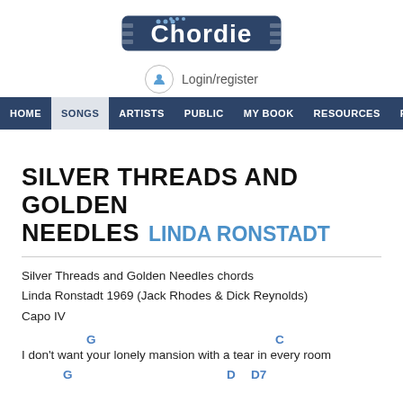Chordie
Login/register
HOME  SONGS  ARTISTS  PUBLIC  MY BOOK  RESOURCES  FORUM
SILVER THREADS AND GOLDEN NEEDLES  LINDA RONSTADT
Silver Threads and Golden Needles chords
Linda Ronstadt 1969 (Jack Rhodes & Dick Reynolds)
Capo IV
G                              C
I don't want your lonely mansion with a tear in every room
     G                  D  D7